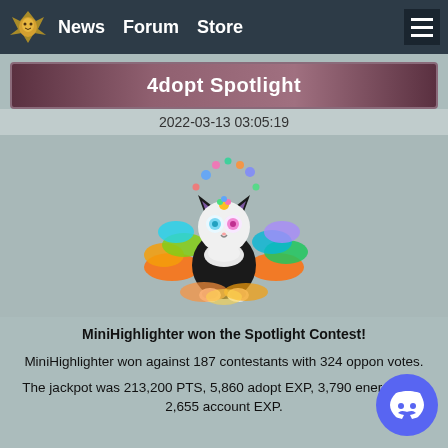News  Forum  Store
4dopt Spotlight
2022-03-13 03:05:19
[Figure (illustration): Colorful cartoon black cat with rainbow wings and skull face markings, surrounded by colorful paint splatters and dots]
MiniHighlighter won the Spotlight Contest!
MiniHighlighter won against 187 contestants with 324 opponent votes.
The jackpot was 213,200 PTS, 5,860 adopt EXP, 3,790 energy, and 2,655 account EXP.